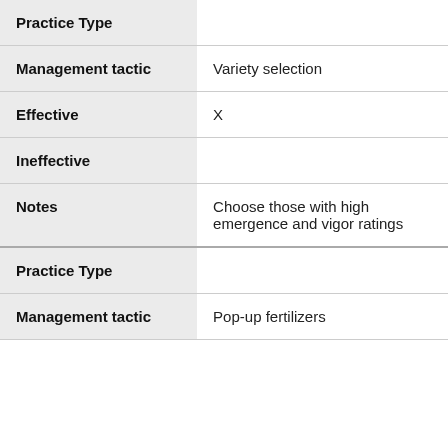| Practice Type |  |
| --- | --- |
| Management tactic | Variety selection |
| Effective | X |
| Ineffective |  |
| Notes | Choose those with high emergence and vigor ratings |
| Practice Type |  |
| Management tactic | Pop-up fertilizers |